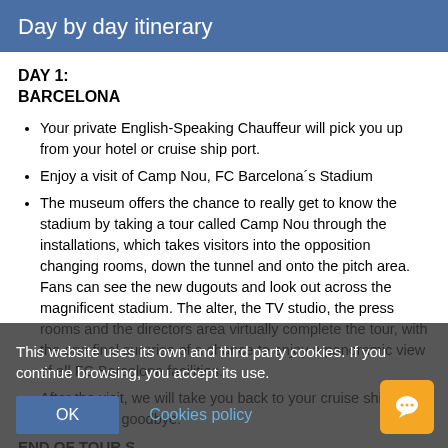Day by day itinerary
DAY 1:
BARCELONA
Your private English-Speaking Chauffeur will pick you up from your hotel or cruise ship port.
Enjoy a visit of Camp Nou, FC Barcelona´s Stadium
The museum offers the chance to really get to know the stadium by taking a tour called Camp Nou through the installations, which takes visitors into the opposition changing rooms, down the tunnel and onto the pitch area. Fans can see the new dugouts and look out across the magnificent stadium. The alter, the TV studio, the press rooms and the directors area virtually complete the tour, with the one final surprise of a chance to enjoy a panoramic view of all FC Barcelona facilities.
After the visit, we will take you back to your cruise ship and say the final goodbye.
END OF TOUR S.
This website uses its own and third party cookies. If you continue browsing, you accept its use.